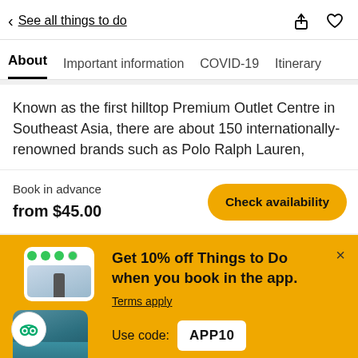< See all things to do
About | Important information | COVID-19 | Itinerary
Known as the first hilltop Premium Outlet Centre in Southeast Asia, there are about 150 internationally-renowned brands such as Polo Ralph Lauren,
Book in advance
from $45.00
Get 10% off Things to Do when you book in the app. Terms apply
Use code: APP10
Shop now